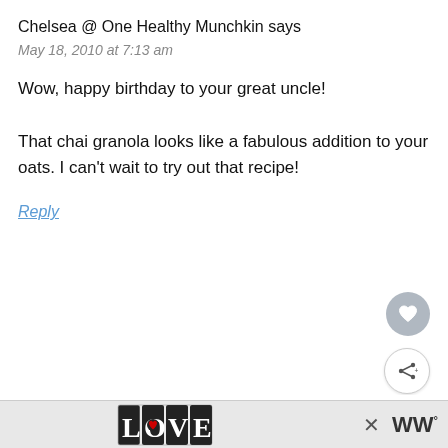Chelsea @ One Healthy Munchkin says
May 18, 2010 at 7:13 am
Wow, happy birthday to your great uncle!

That chai granola looks like a fabulous addition to your oats. I can't wait to try out that recipe!
Reply
[Figure (screenshot): Heart/like icon button (gray circle with white heart)]
[Figure (screenshot): Share icon button (white circle with share icon)]
[Figure (screenshot): What's Next bar with thumbnail image and text 'Breakfast Du Monde']
[Figure (screenshot): Bottom advertisement bar with LOVE logo artwork, close X button, and WW logo]